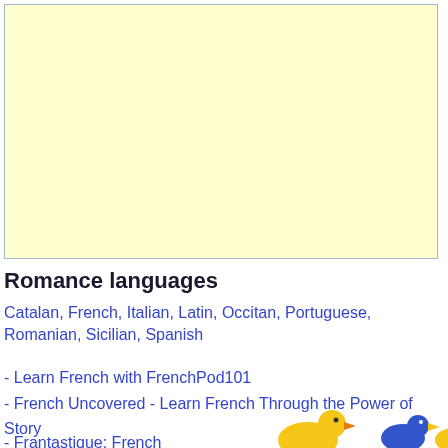[Figure (other): Large light yellow advertisement box with blue/teal border, mostly empty content area]
Romance languages
Catalan, French, Italian, Latin, Occitan, Portuguese, Romanian, Sicilian, Spanish
- Learn French with FrenchPod101
- French Uncovered - Learn French Through the Power of Story
- Frantastique: French learning Online
[Figure (illustration): Partial illustration of cartoon duck/bird characters visible at bottom right corner]